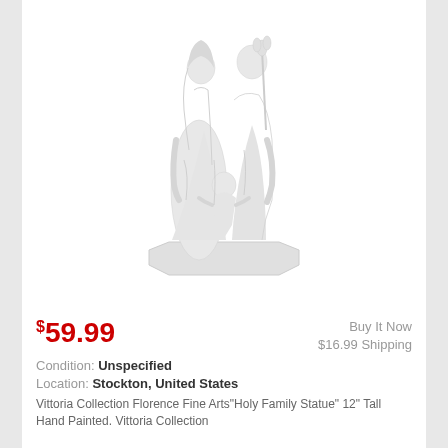[Figure (photo): White ceramic/marble Holy Family statue showing two adult figures (Mary and Joseph) with a child figure between them, standing on an octagonal base. The statue is all white/bisque finish.]
$59.99
Buy It Now
$16.99 Shipping
Condition: Unspecified
Location: Stockton, United States
Vittoria Collection Florence Fine Arts"Holy Family Statue" 12" Tall Hand Painted. Vittoria Collection